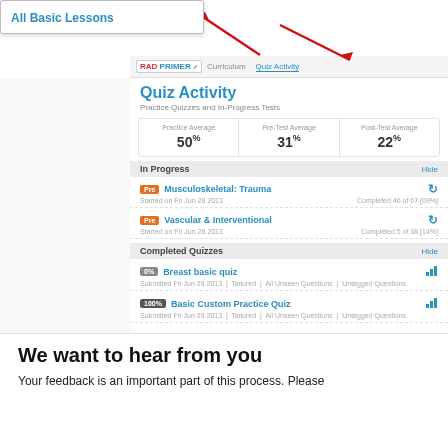All Basic Lessons
[Figure (screenshot): RAD PRIMER navigation bar with Curriculum and Quiz Activity tabs]
Quiz Activity
Practice Quizzes and In-Progress Tests
| Practice Average | Pre-Test Average | Post-Test Average |
| --- | --- | --- |
| 50% | 31% | 22% |
In Progress
Musculoskeletal: Trauma
Started on Fri Jun 28 2013
Completed 46 of 67 [69%]
Vascular & Interventional
Started on Fri Jun 28 2013
Completed 5 of 38 [14%]
Completed Quizzes
Breast basic quiz
Submitted Fri Jun 28 2013 | Tailored | All Unseen Questions | Untagged Questions
Basic Custom Practice Quiz
Submitted Fri Jun 28 2013 | Tailored | All Unseen Questions | Untagged Questions
We want to hear from you
Your feedback is an important part of this process. Please